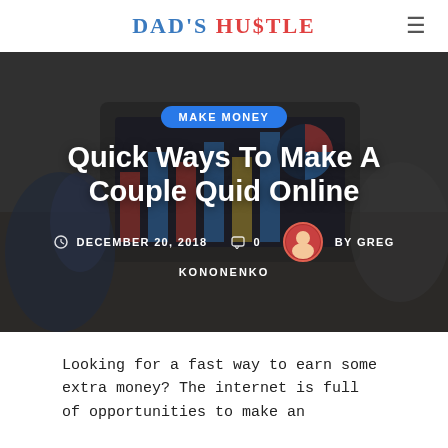Dad's Hu$tle
[Figure (screenshot): Hero image showing two people working at a laptop with charts on screen, darkened overlay background]
Quick Ways To Make A Couple Quid Online
MAKE MONEY
DECEMBER 20, 2018   0   BY GREG KONONENKO
Looking for a fast way to earn some extra money? The internet is full of opportunities to make an